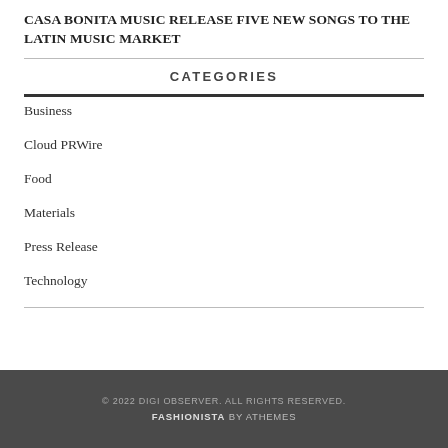CASA BONITA MUSIC RELEASE FIVE NEW SONGS TO THE LATIN MUSIC MARKET
CATEGORIES
Business
Cloud PRWire
Food
Materials
Press Release
Technology
© 2022 DIGI OBSERVER. ALL RIGHTS RESERVED. FASHIONISTA BY ATHEMES